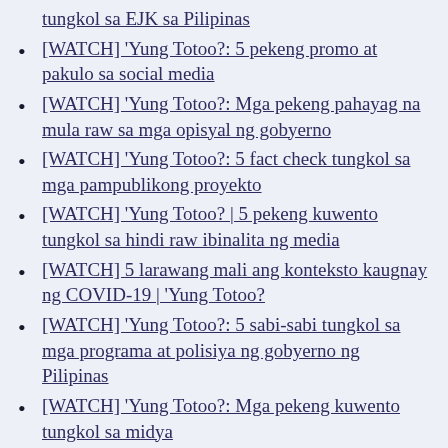tungkol sa EJK sa Pilipinas
[WATCH] 'Yung Totoo?: 5 pekeng promo at pakulo sa social media
[WATCH] 'Yung Totoo?: Mga pekeng pahayag na mula raw sa mga opisyal ng gobyerno
[WATCH] 'Yung Totoo?: 5 fact check tungkol sa mga pampublikong proyekto
[WATCH] 'Yung Totoo? | 5 pekeng kuwento tungkol sa hindi raw ibinalita ng media
[WATCH] 5 larawang mali ang konteksto kaugnay ng COVID-19 | 'Yung Totoo?
[WATCH] 'Yung Totoo?: 5 sabi-sabi tungkol sa mga programa at polisiya ng gobyerno ng Pilipinas
[WATCH] 'Yung Totoo?: Mga pekeng kuwento tungkol sa midya